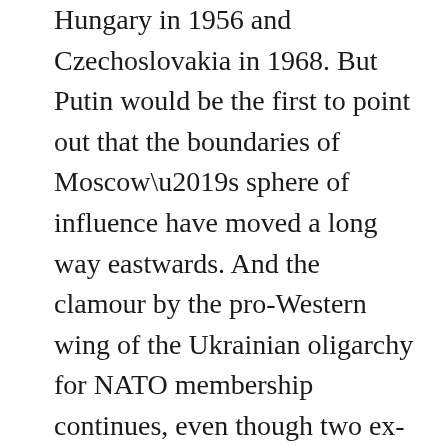Hungary in 1956 and Czechoslovakia in 1968. But Putin would be the first to point out that the boundaries of Moscow’s sphere of influence have moved a long way eastwards. And the clamour by the pro-Western wing of the Ukrainian oligarchy for NATO membership continues, even though two ex-US national security advisers, Henry Kissinger and Zbigniew Brzezinski, have called for Ukraine to be “Finlandised”—ie economically integrated into the West, but kept geopolitically neutral. Both men have plenty of blood on their hands, but they recognise that incorporating Ukraine into NATO would commit the US to going to war to defend it.
So far Putin’s punishment is taking the form of targeted sanctions against his cronies and threats of more severe measures. The problem is that globalisation cuts both ways. Russia’s integration into the world market means